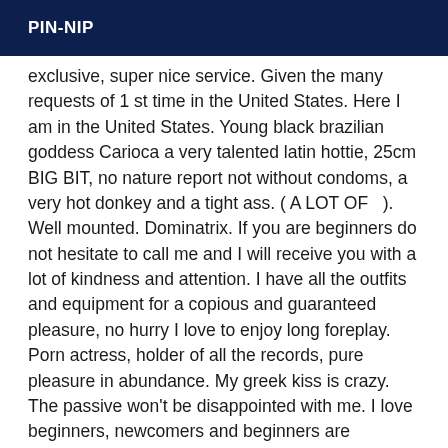PIN-NIP
exclusive, super nice service. Given the many requests of 1 st time in the United States. Here I am in the United States. Young black brazilian goddess Carioca a very talented latin hottie, 25cm BIG BIT, no nature report not without condoms, a very hot donkey and a tight ass. ( A LOT OF  ). Well mounted. Dominatrix. If you are beginners do not hesitate to call me and I will receive you with a lot of kindness and attention. I have all the outfits and equipment for a copious and guaranteed pleasure, no hurry I love to enjoy long foreplay. Porn actress, holder of all the records, pure pleasure in abundance. My greek kiss is crazy. The passive won't be disappointed with me. I love beginners, newcomers and beginners are welcome. I love to turn males into females. An oversized sex, I will make your eyes turn. Experience with couples, discretion assured. Special attention for passive gentlemen and appropriate masters. Active transex nymph, I also have a nice ass